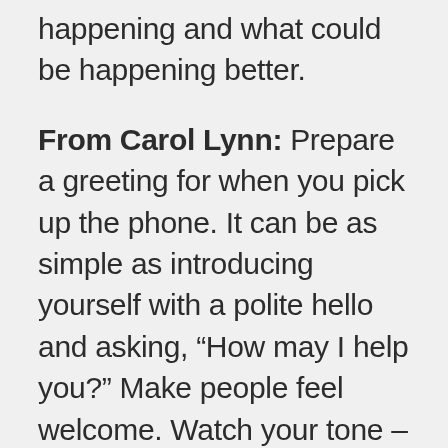happening and what could be happening better.
From Carol Lynn: Prepare a greeting for when you pick up the phone. It can be as simple as introducing yourself with a polite hello and asking, “How may I help you?” Make people feel welcome. Watch your tone – you can say the same thing but it can come across entirely differently depending on how you say it. Then pick up the